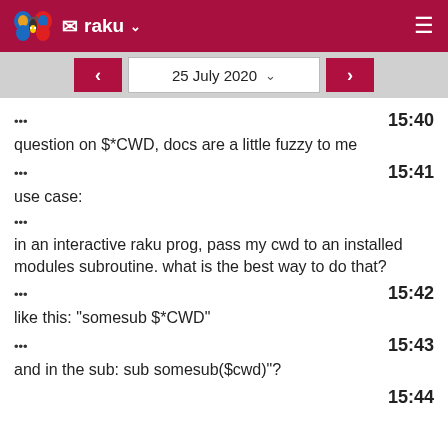raku — inbox navigation, 25 July 2020
••• 15:40
question on $*CWD, docs are a little fuzzy to me
••• 15:41
use case:
•••
in an interactive raku prog, pass my cwd to an installed modules subroutine. what is the best way to do that?
••• 15:42
like this: "somesub $*CWD"
••• 15:43
and in the sub: sub somesub($cwd)"?
15:44